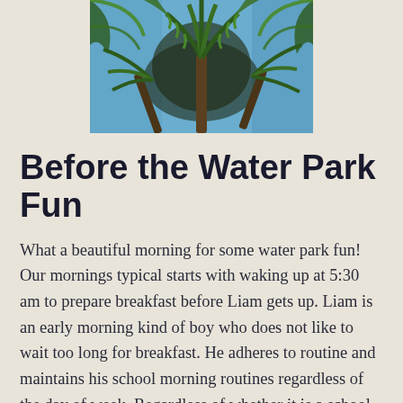[Figure (photo): Looking upward through palm trees at a blue sky, tropical setting with green palm fronds radiating outward.]
Before the Water Park Fun
What a beautiful morning for some water park fun! Our mornings typical starts with waking up at 5:30 am to prepare breakfast before Liam gets up. Liam is an early morning kind of boy who does not like to wait too long for breakfast. He adheres to routine and maintains his school morning routines regardless of the day of week. Regardless of whether it is a school morning, weekend, or holiday.